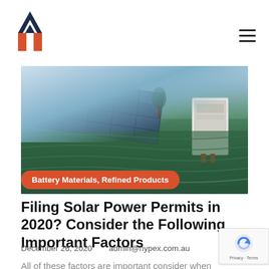[Figure (logo): Hypex logo: red/orange geometric house-like icon with dark blue M shape]
[Figure (photo): Outdoor photo of solar panels installed in a green field with a white inverter/battery unit on the right side]
Battery Materials, Refined Products
Filing Solar Power Permits in 2020? Consider the Following Important Factors
December 26, 2020    admin@hypex.com.au
All of these factors are important consider when